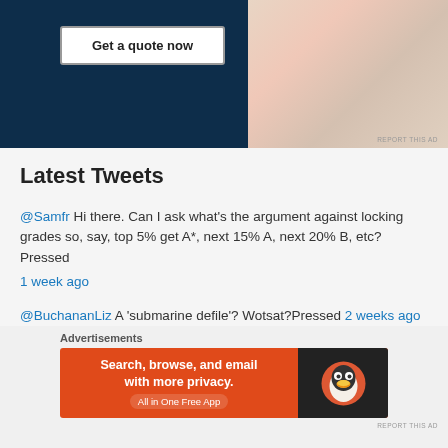[Figure (screenshot): Advertisement with dark navy background showing 'Get a quote now' button and product/fashion website screenshots on the right side]
REPORT THIS AD
Latest Tweets
@Samfr Hi there. Can I ask what's the argument against locking grades so, say, top 5% get A*, next 15% A, next 20% B, etc?Pressed
1 week ago
@BuchananLiz A 'submarine defile'? Wotsat?Pressed 2 weeks ago
Goodness. What a bizarre and flat out wrong generalisation to hazard. Proof that even the most brilliant among us m…
Advertisements
[Figure (screenshot): DuckDuckGo advertisement banner: 'Search, browse, and email with more privacy. All in One Free App' on orange background with DuckDuckGo logo on dark right panel]
REPORT THIS AD